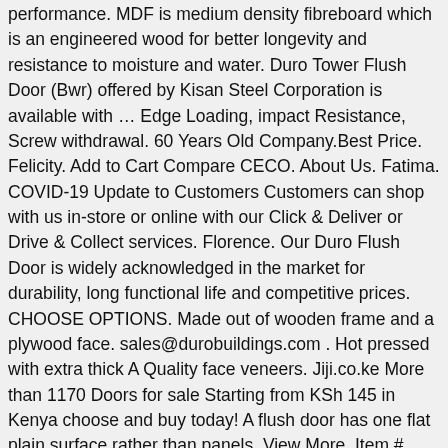performance. MDF is medium density fibreboard which is an engineered wood for better longevity and resistance to moisture and water. Duro Tower Flush Door (Bwr) offered by Kisan Steel Corporation is available with … Edge Loading, impact Resistance, Screw withdrawal. 60 Years Old Company.Best Price. Felicity. Add to Cart Compare CECO. About Us. Fatima. COVID-19 Update to Customers Customers can shop with us in-store or online with our Click & Deliver or Drive & Collect services. Florence. Our Duro Flush Door is widely acknowledged in the market for durability, long functional life and competitive prices. CHOOSE OPTIONS. Made out of wooden frame and a plywood face. sales@durobuildings.com . Hot pressed with extra thick A Quality face veneers. Jiji.co.ke More than 1170 Doors for sale Starting from KSh 145 in Kenya choose and buy today! A flush door has one flat plain surface rather than panels. View More. Item # 3KY15; Mfr. Find high quality Flush Wooden Door Price Suppliers on Alibaba. Model # … Duro Flush Door Duro Flush Door BWP Starts from Rs. 144.45 per sq. The solid blockboard core is framed with seasoned hardwood battens and strengthened by a